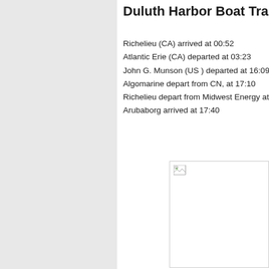Duluth Harbor Boat Tra
Richelieu (CA) arrived at 00:52
Atlantic Erie (CA) departed at 03:23
John G. Munson (US ) departed at 16:09
Algomarine depart from CN, at 17:10
Richelieu depart from Midwest Energy at 1
Arubaborg arrived at 17:40
[Figure (photo): Broken/missing image placeholder in white box with small broken image icon in upper left corner]